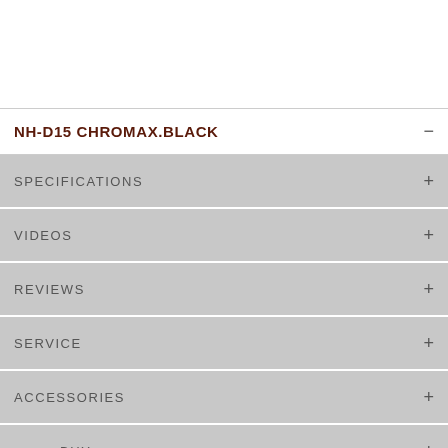NH-D15 CHROMAX.BLACK
SPECIFICATIONS +
VIDEOS +
REVIEWS +
SERVICE +
ACCESSORIES +
BUY +
NEWSLETTER   LEGAL INFORMATION   ABOUT NOCTUA   CONTACT US